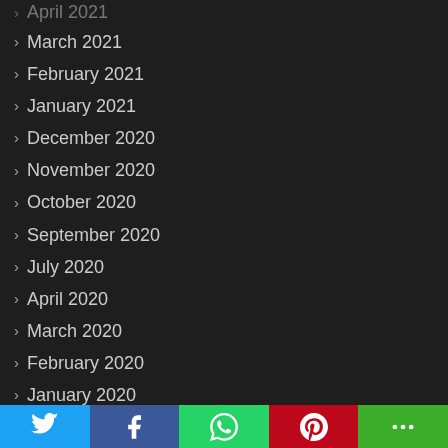April 2021
March 2021
February 2021
January 2021
December 2020
November 2020
October 2020
September 2020
July 2020
April 2020
March 2020
February 2020
January 2020
June 2019
March 2019
January 2019
December 2018
[Figure (infographic): Social share buttons bar: Twitter (blue), Facebook (dark blue), WhatsApp (green), Pinterest (red), More (green)]